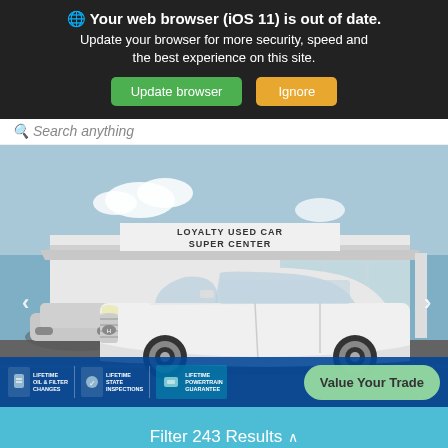🌐 Your web browser (iOS 11) is out of date. Update your browser for more security, speed and the best experience on this site. Update browser | Ignore
Search anything
[Figure (photo): White Hyundai Elantra sedan parked in front of Loyalty Used Car Super Center dealership building. Left and right navigation arrows visible. Bottom bar shows Lifetime Oil & Filter Changes, Lifetime State Inspections, Lifetime Powertrain Guarantee badges, and a 'Value Your Trade' button.]
Filter 243 Results ^